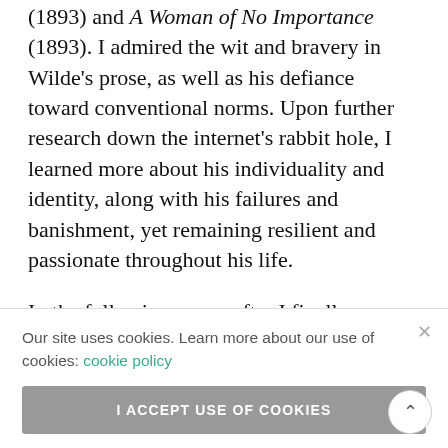(1893) and A Woman of No Importance (1893). I admired the wit and bravery in Wilde's prose, as well as his defiance toward conventional norms. Upon further research down the internet's rabbit hole, I learned more about his individuality and identity, along with his failures and banishment, yet remaining resilient and passionate throughout his life.
In the following years, after I finally graduated college, Wilde stayed with me. His confidence in … ntually … t stab at … I was ten … g lyrics, but … erate
narrative, not for myself anyway, not for